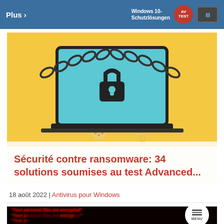Plus ›
[Figure (screenshot): Website screenshot showing a navigation bar with 'Plus ›' on the left and an AV-TEST Windows 10 Schutzlösungen banner on the right]
[Figure (illustration): Ransomware illustration: laptop with chained screen on yellow background]
Sécurité contre ransomware: 34 solutions soumises au test Advanced...
18 août 2022 | Antivirus pour Windows
[Figure (photo): Dark photo showing laptop with red 'Your personal files are encrypted' ransomware text overlay]